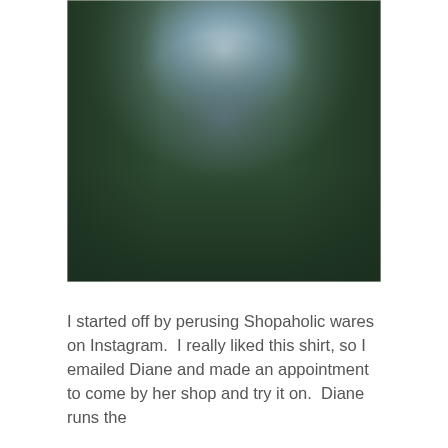[Figure (photo): A blurred/out-of-focus photograph with dark green tones and a lighter, whitish-blue glowing area near the top center. The image is heavily blurred and appears to show an outdoor scene.]
I started off by perusing Shopaholic wares on Instagram.  I really liked this shirt, so I emailed Diane and made an appointment to come by her shop and try it on.  Diane runs the